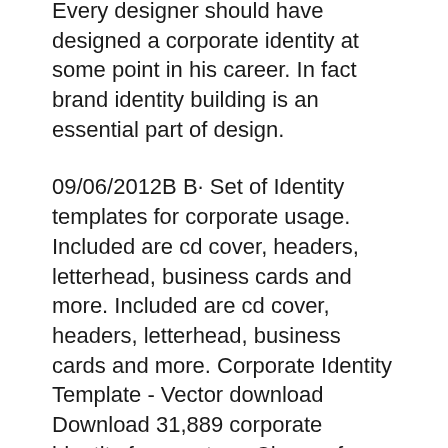Every designer should have designed a corporate identity at some point in his career. In fact brand identity building is an essential part of design.
09/06/2012B B· Set of Identity templates for corporate usage. Included are cd cover, headers, letterhead, business cards and more. Included are cd cover, headers, letterhead, business cards and more. Corporate Identity Template - Vector download Download 31,889 corporate identity free vectors. Choose from over a million free vectors, clipart graphics, vector art images, design templates, and illustrations created by artists worldwide!